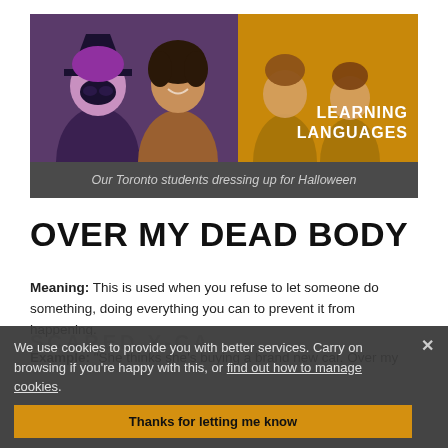[Figure (photo): Two photos side by side: left shows two students in Halloween costumes (one with purple hair and mask, one smiling), right shows two young women on a yellow/golden background with text 'LEARNING LANGUAGES']
Our Toronto students dressing up for Halloween
OVER MY DEAD BODY
Meaning: This is used when you refuse to let someone do something, doing everything you can to prevent it from happening.
Example: "She thinks she's buying a brand new car. Over my
We use cookies to provide you with better services. Carry on browsing if you're happy with this, or find out how to manage cookies.
Thanks for letting me know